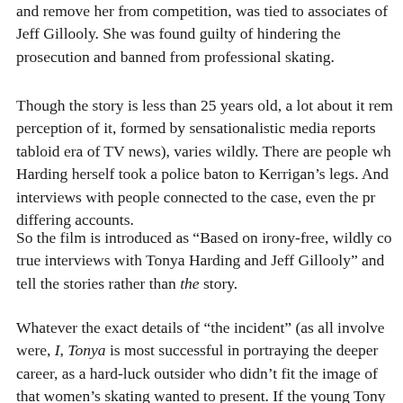and remove her from competition, was tied to associates of Jeff Gillooly. She was found guilty of hindering the prosecution and banned from professional skating.
Though the story is less than 25 years old, a lot about it remains murky. The perception of it, formed by sensationalistic media reports (and ushered in the tabloid era of TV news), varies wildly. There are people who believe Tonya Harding herself took a police baton to Kerrigan's legs. And in the many interviews with people connected to the case, even the principals give differing accounts.
So the film is introduced as “Based on irony-free, wildly contradictory, true interviews with Tonya Harding and Jeff Gillooly” and seeks to tell the stories rather than the story.
Whatever the exact details of “the incident” (as all involved call it) were, I, Tonya is most successful in portraying the deeper story of her career, as a hard-luck outsider who didn’t fit the image of femininity that women's skating wanted to present. If the young Tony